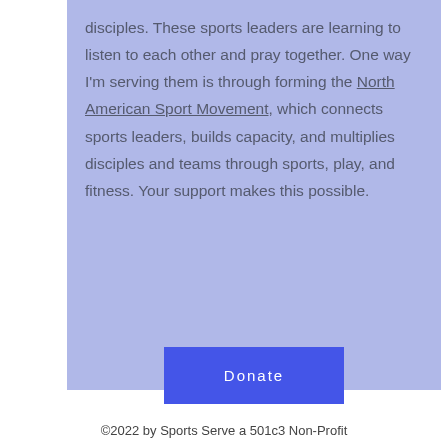disciples. These sports leaders are learning to listen to each other and pray together. One way I'm serving them is through forming the North American Sport Movement, which connects sports leaders, builds capacity, and multiplies disciples and teams through sports, play, and fitness. Your support makes this possible.
Donate
©2022 by Sports Serve a 501c3 Non-Profit